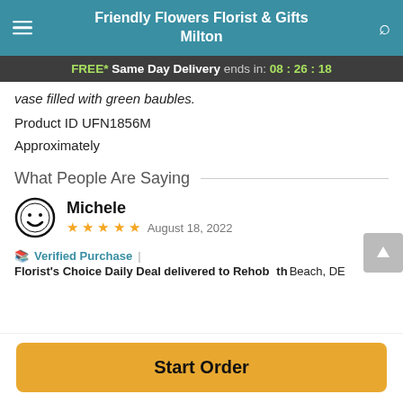Friendly Flowers Florist & Gifts Milton
FREE* Same Day Delivery ends in: 08:26:18
vase filled with green baubles.
Product ID UFN1856M
Approximately
What People Are Saying
Michele
★★★★★ August 18, 2022
🌸 Verified Purchase | Florist's Choice Daily Deal delivered to Rehoboth Beach, DE
Start Order